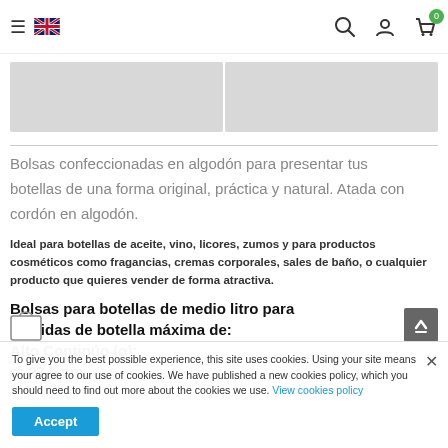≡ [UK flag] [search] [user] [cart 0]
[Figure (photo): Two gray image thumbnails side by side representing product images]
Bolsas confeccionadas en algodón para presentar tus botellas de una forma original, práctica y natural. Atada con cordón en algodón.
Ideal para botellas de aceite, vino, licores, zumos y para productos cosméticos como fragancias, cremas corporales, sales de baño, o cualquier producto que quieres vender de forma atractiva.
Bolsas para botellas de medio litro para medidas de botella máxima de: Alto Continúo (ø): o: 27,5 cm.
To give you the best possible experience, this site uses cookies. Using your site means your agree to our use of cookies. We have published a new cookies policy, which you should need to find out more about the cookies we use. View cookies policy  Accept